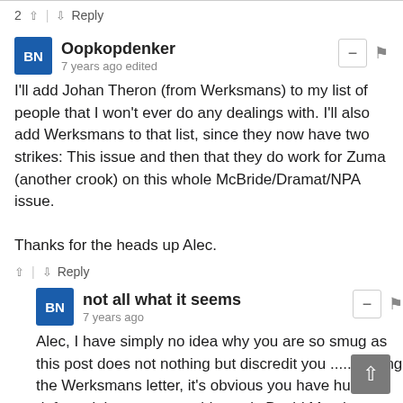2 ↑ | ↓ Reply
Oopkopdenker
7 years ago edited
I'll add Johan Theron (from Werksmans) to my list of people that I won't ever do any dealings with. I'll also add Werksmans to that list, since they now have two strikes: This issue and then that they do work for Zuma (another crook) on this whole McBride/Dramat/NPA issue.

Thanks for the heads up Alec.
↑ | ↓ Reply
not all what it seems
7 years ago
Alec, I have simply no idea why you are so smug as this post does not nothing but discredit you .....reading the Werksmans letter, it's obvious you have hugely defamed them....your evidence is David Marchants article...what else?....your lawyer says "The articles are substantially true".....how does he know this? how do